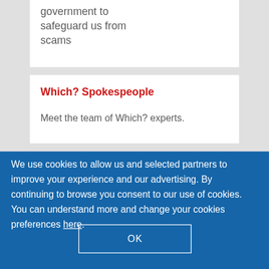government to safeguard us from scams
Which? Spokespeople
Meet the team of Which? experts.
We use cookies to allow us and selected partners to improve your experience and our advertising. By continuing to browse you consent to our use of cookies. You can understand more and change your cookies preferences here.